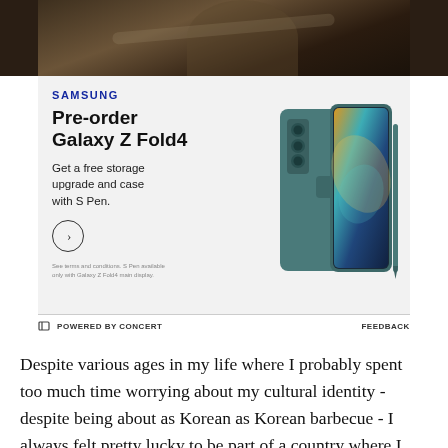[Figure (photo): Top portion of a photograph showing a person, partially cropped, dark background with warm tones]
[Figure (illustration): Samsung advertisement for Galaxy Z Fold4. Shows Samsung logo in blue, headline 'Pre-order Galaxy Z Fold4', subtext 'Get a free storage upgrade and case with S Pen.', a circle arrow button, fine print text, and a product image of the teal/green folding phone with S Pen on the right side.]
POWERED BY CONCERT    FEEDBACK
Despite various ages in my life where I probably spent too much time worrying about my cultural identity - despite being about as Korean as Korean barbecue - I always felt pretty lucky to be part of a country where I